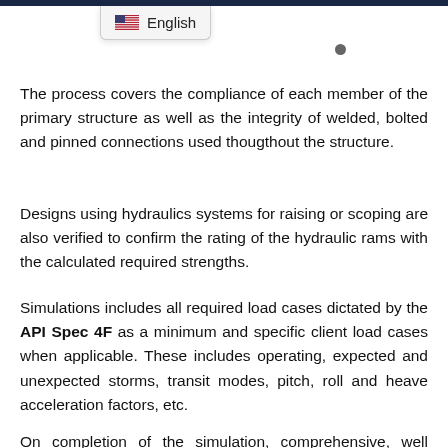English
The process covers the compliance of each member of the primary structure as well as the integrity of welded, bolted and pinned connections used thougthout the structure.
Designs using hydraulics systems for raising or scoping are also verified to confirm the rating of the hydraulic rams with the calculated required strengths.
Simulations includes all required load cases dictated by the API Spec 4F as a minimum and specific client load cases when applicable. These includes operating, expected and unexpected storms, transit modes, pitch, roll and heave acceleration factors, etc.
On completion of the simulation, comprehensive, well documented, detailed and illustrated reports are